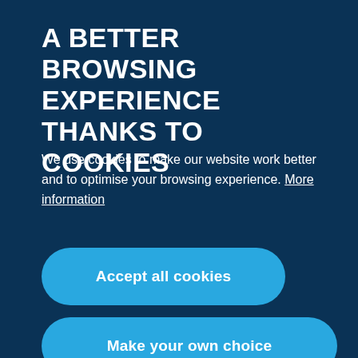A BETTER BROWSING EXPERIENCE THANKS TO COOKIES
We use cookies to make our website work better and to optimise your browsing experience. More information
Accept all cookies
Make your own choice